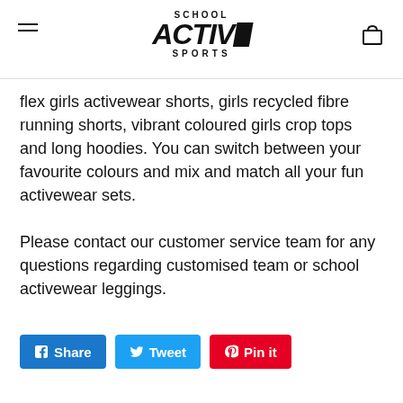SCHOOL ACTIVE SPORTS
flex girls activewear shorts, girls recycled fibre running shorts, vibrant coloured girls crop tops and long hoodies. You can switch between your favourite colours and mix and match all your fun activewear sets.
Please contact our customer service team for any questions regarding customised team or school activewear leggings.
Share  Tweet  Pin it